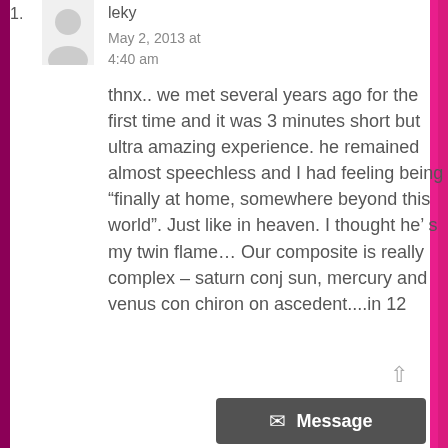1.
[Figure (illustration): Generic user avatar silhouette in gray circle]
leky
May 2, 2013 at
4:40 am
thnx.. we met several years ago for the first time and it was 3 minutes short but ultra amazing experience. he remained almost speechless and I had feeling being “finally at home, somewhere beyond this world”. Just like in heaven. I thought he’ s my twin flame… Our composite is really complex – saturn conj sun, mercury and venus con… chiron on ascedent....in 12